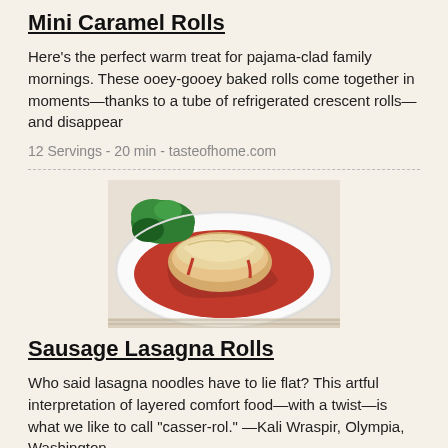Mini Caramel Rolls
Here's the perfect warm treat for pajama-clad family mornings. These ooey-gooey baked rolls come together in moments—thanks to a tube of refrigerated crescent rolls—and disappear
12 Servings - 20 min - tasteofhome.com
[Figure (photo): A plate of sausage lasagna rolls covered in red tomato sauce and melted cheese, garnished with green herbs/vegetables]
Sausage Lasagna Rolls
Who said lasagna noodles have to lie flat? This artful interpretation of layered comfort food—with a twist—is what we like to call "casser-rol." —Kali Wraspir, Olympia, Washington